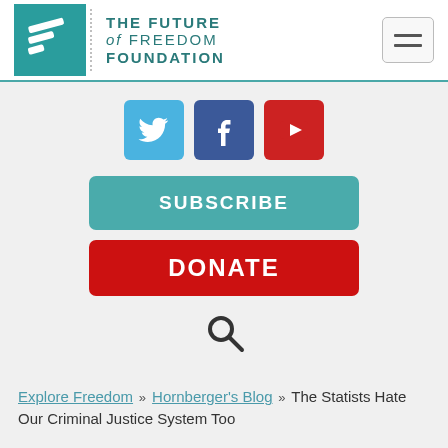[Figure (logo): The Future of Freedom Foundation logo with teal square and stylized F icon, organization name in teal letters]
[Figure (infographic): Social media icons: Twitter (blue bird), Facebook (blue f), YouTube (red play button), followed by SUBSCRIBE teal button and DONATE red button, and a search icon]
Explore Freedom >> Hornberger's Blog >> The Statists Hate Our Criminal Justice System Too